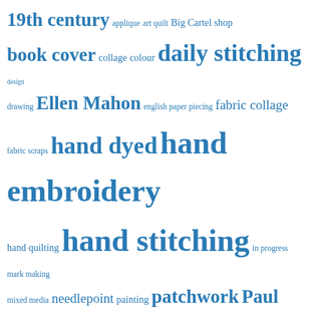[Figure (infographic): Tag cloud featuring embroidery, stitching, and textile art related terms in varying font sizes in blue color on white background. Terms include: 19th century, applique, art quilt, Big Cartel shop, book cover, collage, colour, daily stitching, design, drawing, Ellen Mahon, english paper piecing, fabric collage, fabric scraps, hand dyed, hand embroidery, hand quilting, hand stitching, in progress, mark making, mixed media, needlepoint, painting, patchwork, Paul Klee, planning, process, Procreate, RedBubble, reflection, reflections, sample, sampler, sampler book, sketchbook pages, stitch journal, stitch meditation, stitch samples, supplies, textile art, thinking, thinking through making, threads, time out, video]